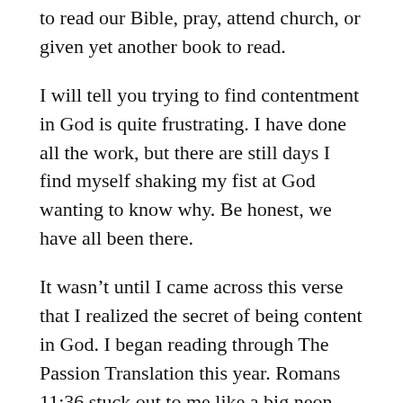to read our Bible, pray, attend church, or given yet another book to read.
I will tell you trying to find contentment in God is quite frustrating. I have done all the work, but there are still days I find myself shaking my fist at God wanting to know why. Be honest, we have all been there.
It wasn’t until I came across this verse that I realized the secret of being content in God. I began reading through The Passion Translation this year. Romans 11:36 stuck out to me like a big neon sign:
“For out of him, the sustainer of everything, came